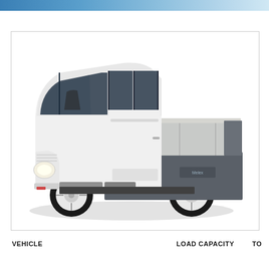[Figure (photo): White electric utility truck/vehicle with enclosed cab and flat bed cargo area, shown in 3/4 front view against white background. The cab is white with large glass windows and the flat bed has a silver/grey metal body with dark grey lower panels and white wheels.]
VEHICLE
LOAD CAPACITY
TO